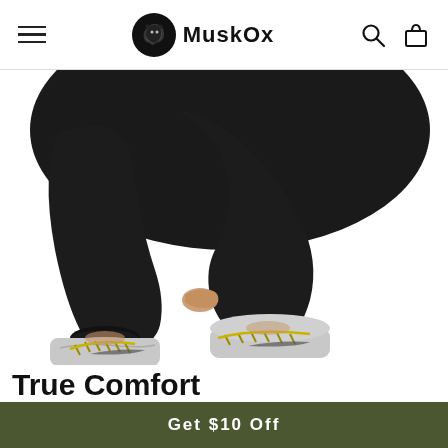MuskOx
[Figure (photo): Close-up photo of a person squatting in black athletic pants with elastic cuffs and Nike athletic shoes with yellow laces and white/grey pattern, on a white background.]
True Comfort
We combine high quality fabric with thoughtful design so your active clothing never looses it shape and allows for optimal mobility
Get $10 Off